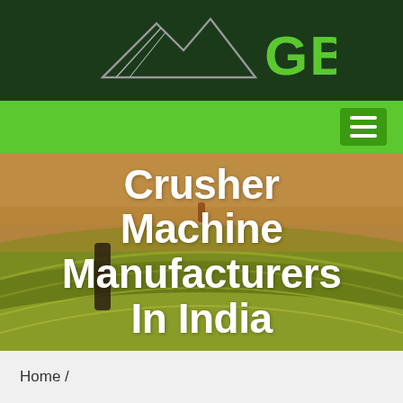[Figure (logo): GBM company logo with mountain/arrow graphic in white/grey on dark green background, text 'GBM' in bright green]
[Figure (screenshot): Green navigation bar with hamburger menu icon on right side]
[Figure (photo): Aerial photo of agricultural fields with rolling hills and curved field rows in yellow-green tones, with a dark silhouette figure/tree visible]
Crusher Machine Manufacturers In India
Home /